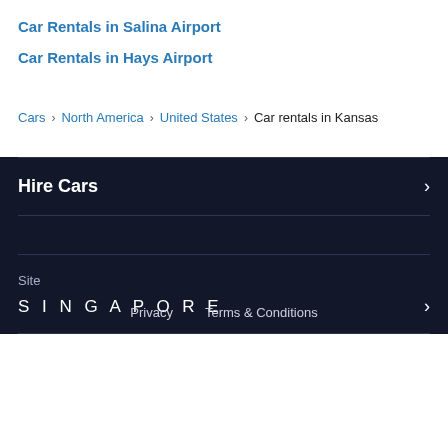Car Rentals in Salina Airport
Car Rentals in Hays Airport
Cars › North America › United States › Car rentals in Kansas
Hire Cars
Site
SINGAPORE
Privacy   Terms & Conditions